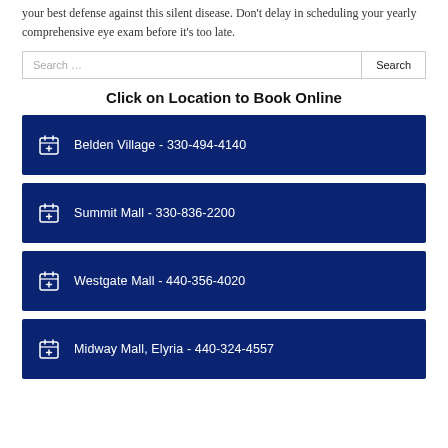your best defense against this silent disease. Don't delay in scheduling your yearly comprehensive eye exam before it's too late.
Search …
Click on Location to Book Online
Belden Village - 330-494-4140
Summit Mall - 330-836-2200
Westgate Mall - 440-356-4020
Midway Mall, Elyria - 440-324-4557